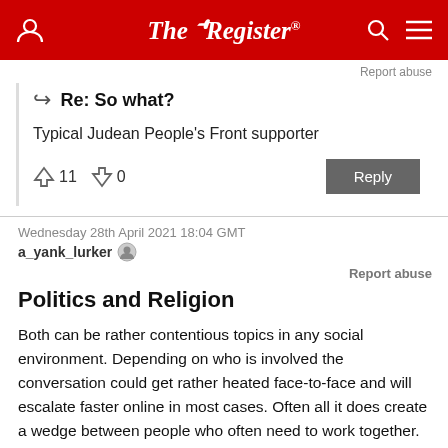The Register
Report abuse
Re: So what?
Typical Judean People's Front supporter
↑11  ↓0
Wednesday 28th April 2021 18:04 GMT
a_yank_lurker
Report abuse
Politics and Religion
Both can be rather contentious topics in any social environment. Depending on who is involved the conversation could get rather heated face-to-face and will escalate faster online in most cases. Often all it does create a wedge between people who often need to work together. By keeping certain topics out of the work place